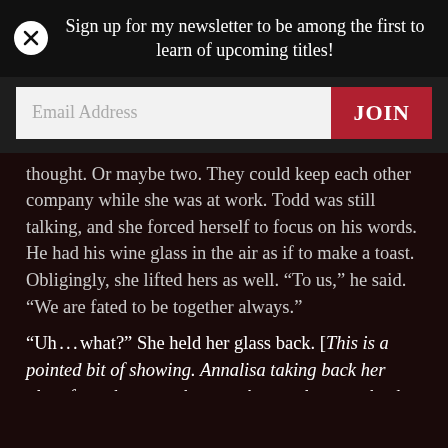Sign up for my newsletter to be among the first to learn of upcoming titles!
Email Address
JOIN
thought. Or maybe two. They could keep each other company while she was at work. Todd was still talking, and she forced herself to focus on his words. He had his wine glass in the air as if to make a toast. Obligingly, she lifted hers as well. “To us,” he said. “We are fated to be together always.”
“Uh . . . what?” She held her glass back. [This is a pointed bit of showing. Annalisa taking back her glass from the toast shows us her unpleasant shock at Todd’s words.]
“Us,” he repeated, looking chagrined as he motioned between them. “You know—death and